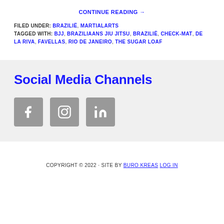CONTINUE READING →
FILED UNDER: BRAZILIË, MARTIALARTS
TAGGED WITH: BJJ, BRAZILIAANS JIU JITSU, BRAZILIË, CHECKMAT, DE LA RIVA, FAVELLAS, RIO DE JANEIRO, THE SUGAR LOAF
Social Media Channels
[Figure (other): Three social media icon buttons: Facebook, Instagram, LinkedIn — grey rounded square buttons with white icons]
COPYRIGHT © 2022 · SITE BY BURO KREAS LOG IN